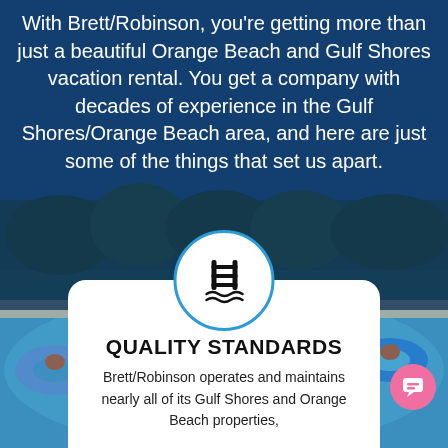[Figure (photo): Aerial/overhead view of a pool with people on blue inflatable rings/floats, with trees in the background. A dark blue semi-transparent overlay covers the top portion.]
With Brett/Robinson, you're getting more than just a beautiful Orange Beach and Gulf Shores vacation rental. You get a company with decades of experience in the Gulf Shores/Orange Beach area, and here are just some of the things that set us apart.
[Figure (illustration): Pool/swimming ladder icon inside a white circle with blue border]
QUALITY STANDARDS
Brett/Robinson operates and maintains nearly all of its Gulf Shores and Orange Beach properties,